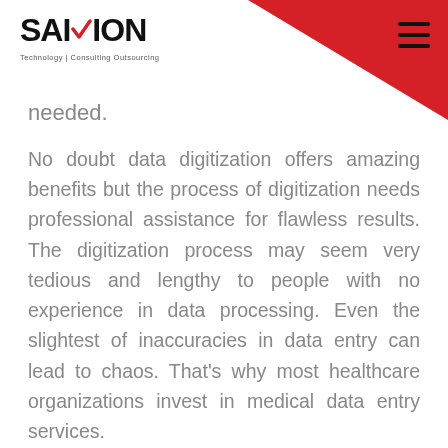SAIVION — Technology | Consulting Outsourcing
needed.
No doubt data digitization offers amazing benefits but the process of digitization needs professional assistance for flawless results. The digitization process may seem very tedious and lengthy to people with no experience in data processing. Even the slightest of inaccuracies in data entry can lead to chaos. That’s why most healthcare organizations invest in medical data entry services.
Here are some of the services you can expect